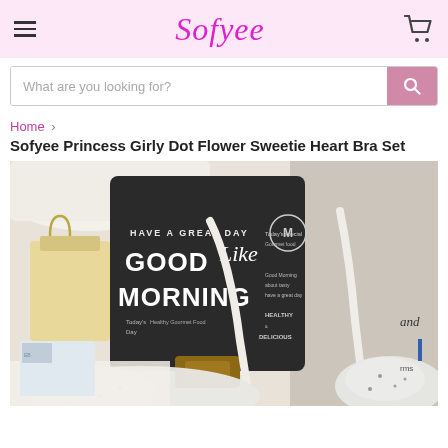Sofyee
What are you looking for?
Home > Sofyee Princess Girly Dot Flower Sweetie Heart Bra Set
Sofyee Princess Girly Dot Flower Sweetie Heart Bra Set
[Figure (photo): Product photo showing a lingerie bra set laid out near a 'Good Morning' chalkboard sign and shopping bags, styled in a flat-lay arrangement on a white surface.]